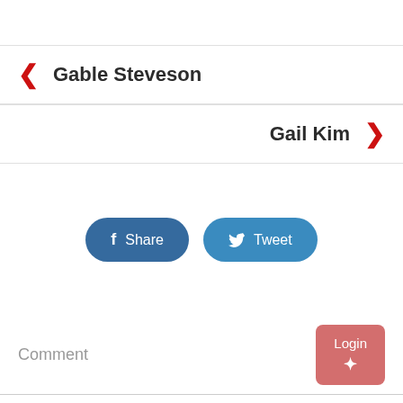← Gable Steveson
Gail Kim →
[Figure (other): Share and Tweet social media buttons]
Comment
Login